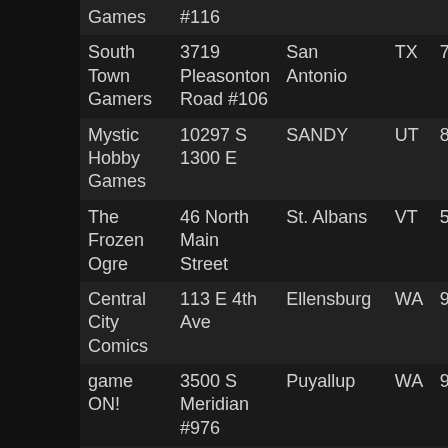| Name | Address | City | State | Zip |
| --- | --- | --- | --- | --- |
| Games | #116 |  |  |  |
| South Town Gamers | 3719 Pleasonton Road #106 | San Antonio | TX | 7 |
| Mystic Hobby Games | 10297 S 1300 E | SANDY | UT | 8 |
| The Frozen Ogre | 46 North Main Street | St. Albans | VT | 5 |
| Central City Comics | 113 E 4th Ave | Ellensburg | WA | 9 |
| game ON! | 3500 S Meridian #976 | Puyallup | WA | 9 |
| South Hill Games | 16126 MERIDIAN AVE E. | PUYALLUP | WA | 9 |
| The Labrynth Games | 123 3rd Ave. | Baraboo | WI | 5 |
| Mind Sight Gaming | 2212 60th Street | Kenosha | WI | 5 |
| Games of Chance | 206 RAILWAY PLAZA | RIVERTON | WY | 8 |
| Eastridge | 7132 Fisher Street | Calagary | AB | T |